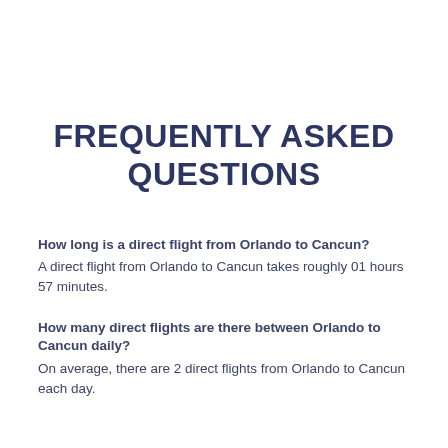FREQUENTLY ASKED QUESTIONS
How long is a direct flight from Orlando to Cancun?
A direct flight from Orlando to Cancun takes roughly 01 hours 57 minutes.
How many direct flights are there between Orlando to Cancun daily?
On average, there are 2 direct flights from Orlando to Cancun each day.